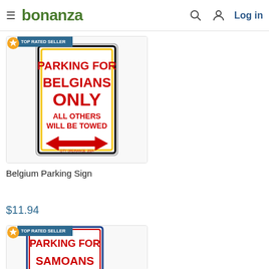bonanza  Log in
[Figure (photo): Belgium Parking Sign product image with TOP RATED SELLER badge. Sign reads: PARKING FOR BELGIANS ONLY ALL OTHERS WILL BE TOWED with double-headed arrow.]
Belgium Parking Sign
$11.94
[Figure (photo): Second parking sign product image with TOP RATED SELLER badge. Sign reads: PARKING FOR SAMOANS (partially visible).]